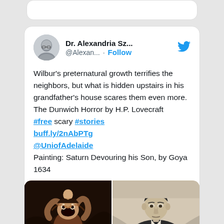[Figure (screenshot): Twitter/X tweet card from Dr. Alexandria Sz... (@Alexan...) with Follow button and Twitter bird logo. Tweet text: Wilbur's preternatural growth terrifies the neighbors, but what is hidden upstairs in his grandfather's house scares them even more. The Dunwich Horror by H.P. Lovecraft #free scary #stories buff.ly/2nAbPTg @UniofAdelaide Painting: Saturn Devouring his Son, by Goya 1634. Two images attached: left is Goya's Saturn Devouring his Son painting (dark, dramatic), right is a black-and-white portrait photo of H.P. Lovecraft.]